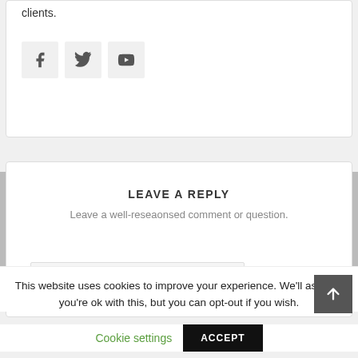clients.
[Figure (other): Social media icons: Facebook, Twitter, YouTube]
LEAVE A REPLY
Leave a well-reseaonsed comment or question.
Your name *
This website uses cookies to improve your experience. We'll assume you're ok with this, but you can opt-out if you wish.
Cookie settings
ACCEPT